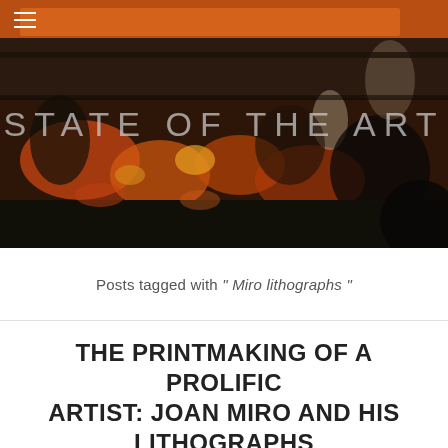[Figure (photo): Dark abstract painting used as website header banner image, with warm red, orange, and brown tones depicting a crowd or chaotic scene]
STATE OF THE ART
Posts tagged with " Miro lithographs "
THE PRINTMAKING OF A PROLIFIC ARTIST: JOAN MIRO AND HIS LITHOGRAPHS